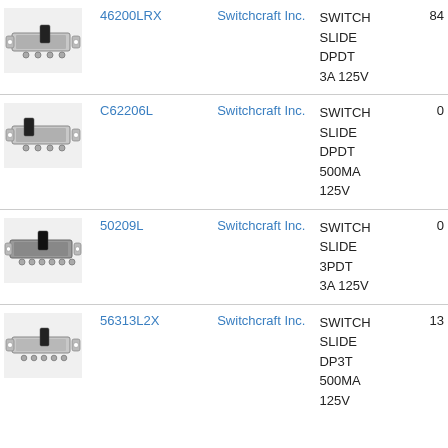| Image | Part Number | Manufacturer | Description | Stock |
| --- | --- | --- | --- | --- |
| [image] | 46200LRX | Switchcraft Inc. | SWITCH SLIDE DPDT 3A 125V | 84 |
| [image] | C62206L | Switchcraft Inc. | SWITCH SLIDE DPDT 500MA 125V | 0 |
| [image] | 50209L | Switchcraft Inc. | SWITCH SLIDE 3PDT 3A 125V | 0 |
| [image] | 56313L2X | Switchcraft Inc. | SWITCH SLIDE DP3T 500MA 125V | 13 |